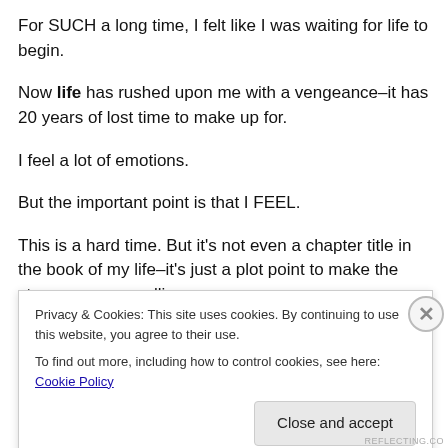For SUCH a long time, I felt like I was waiting for life to begin.
Now life has rushed upon me with a vengeance–it has 20 years of lost time to make up for.
I feel a lot of emotions.
But the important point is that I FEEL.
This is a hard time. But it's not even a chapter title in the book of my life–it's just a plot point to make the story more compelling.
Privacy & Cookies: This site uses cookies. By continuing to use this website, you agree to their use.
To find out more, including how to control cookies, see here: Cookie Policy
Close and accept
REFLECTING.CO